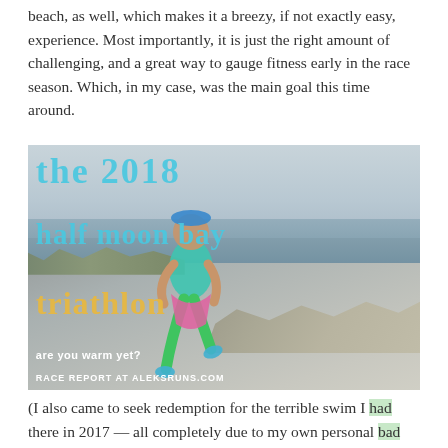beach, as well, which makes it a breezy, if not exactly easy, experience. Most importantly, it is just the right amount of challenging, and a great way to gauge fitness early in the race season. Which, in my case, was the main goal this time around.
[Figure (photo): A triathlete running along a coastal path near the beach with text overlay reading 'the 2018 half moon bay triathlon' in teal/blue letters and 'triathlon' in yellow letters, with smaller text 'are you warm yet?' and 'RACE REPORT AT ALEKSRUNS.COM']
(I also came to seek redemption for the terrible swim I had there in 2017 — all completely due to my own personal bad race-day decisions; read all about them here. Spoiler: I did